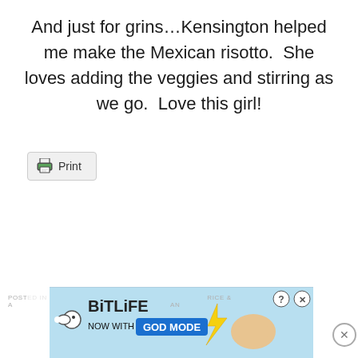And just for grins…Kensington helped me make the Mexican risotto.  She loves adding the veggies and stirring as we go.  Love this girl!
[Figure (screenshot): A grey Print button with a green printer icon on the left]
[Figure (screenshot): BitLife advertisement banner with 'NOW WITH GOD MODE' text and hand pointing gesture, with close buttons]
POSTED IN ... RICE & A COMMENT ... AN